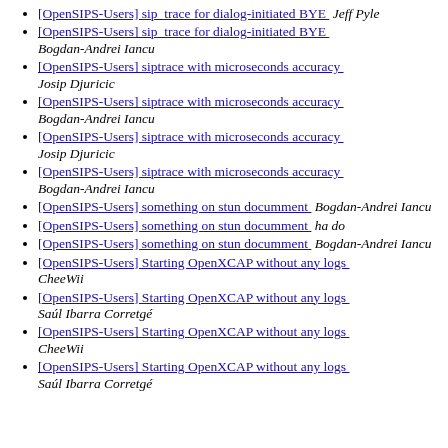[OpenSIPS-Users] sip_trace for dialog-initiated BYE  Jeff Pyle
[OpenSIPS-Users] sip_trace for dialog-initiated BYE  Bogdan-Andrei Iancu
[OpenSIPS-Users] siptrace with microseconds accuracy  Josip Djuricic
[OpenSIPS-Users] siptrace with microseconds accuracy  Bogdan-Andrei Iancu
[OpenSIPS-Users] siptrace with microseconds accuracy  Josip Djuricic
[OpenSIPS-Users] siptrace with microseconds accuracy  Bogdan-Andrei Iancu
[OpenSIPS-Users] something on stun documment  Bogdan-Andrei Iancu
[OpenSIPS-Users] something on stun documment  ha do
[OpenSIPS-Users] something on stun documment  Bogdan-Andrei Iancu
[OpenSIPS-Users] Starting OpenXCAP without any logs  CheeWii
[OpenSIPS-Users] Starting OpenXCAP without any logs  Saúl Ibarra Corretgé
[OpenSIPS-Users] Starting OpenXCAP without any logs  CheeWii
[OpenSIPS-Users] Starting OpenXCAP without any logs  Saúl Ibarra Corretgé